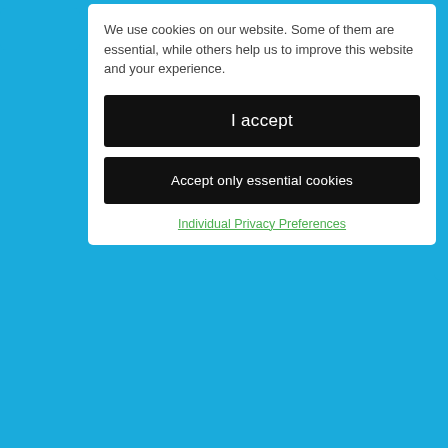[Figure (screenshot): Cookie consent modal overlay on a dental/medical website. Contains text about cookies, two black buttons ('I accept' and 'Accept only essential cookies'), and a green 'Individual Privacy Preferences' link.]
We use cookies on our website. Some of them are essential, while others help us to improve this website and your experience.
I accept
Accept only essential cookies
Individual Privacy Preferences
Will I need x-rays?
Can I have my teeth cleaned at the same time?